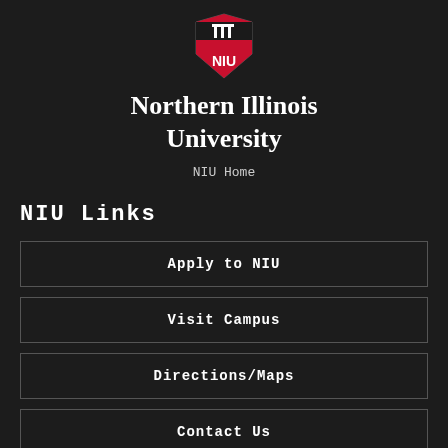[Figure (logo): NIU shield logo with red and black colors and white NIU text]
Northern Illinois University
NIU Home
NIU Links
Apply to NIU
Visit Campus
Directions/Maps
Contact Us
Emergency Information